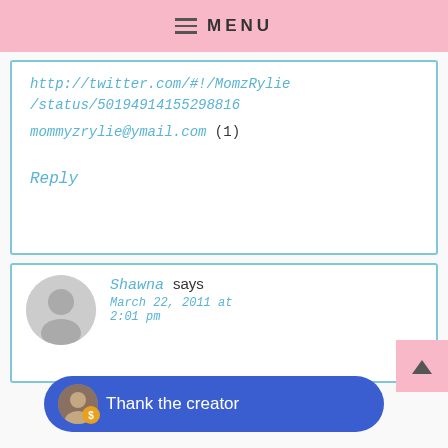MENU
http://twitter.com/#!/MomzRylie/status/50194914155298816 mommyzrylie@ymail.com (1)
Reply
Shawna says
March 22, 2011 at 2:01 pm